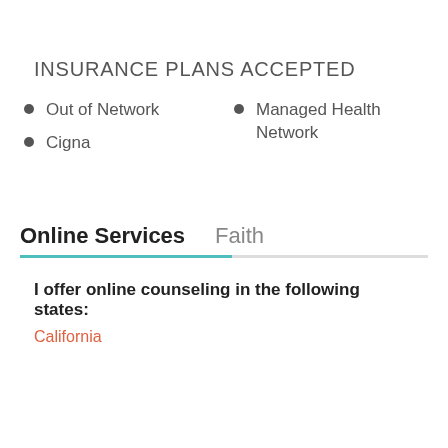INSURANCE PLANS ACCEPTED
Out of Network
Cigna
Managed Health Network
Online Services   Faith
I offer online counseling in the following states:
California